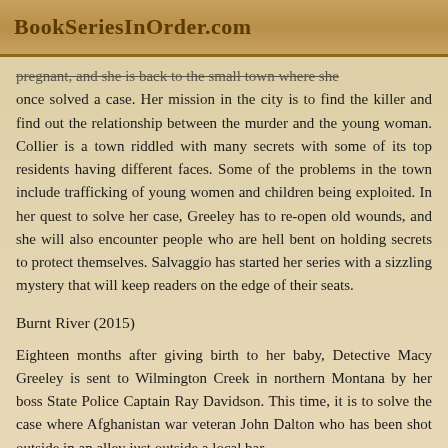BookSeriesInOrder.com
pregnant, and she is back to the small town where she once solved a case. Her mission in the city is to find the killer and find out the relationship between the murder and the young woman. Collier is a town riddled with many secrets with some of its top residents having different faces. Some of the problems in the town include trafficking of young women and children being exploited. In her quest to solve her case, Greeley has to re-open old wounds, and she will also encounter people who are hell bent on holding secrets to protect themselves. Salvaggio has started her series with a sizzling mystery that will keep readers on the edge of their seats.
Burnt River (2015)
Eighteen months after giving birth to her baby, Detective Macy Greeley is sent to Wilmington Creek in northern Montana by her boss State Police Captain Ray Davidson. This time, it is to solve the case where Afghanistan war veteran John Dalton who has been shot outside in an alley just outside a local bar.